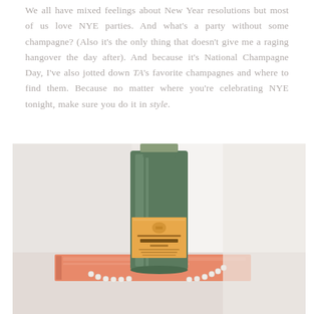We all have mixed feelings about New Year resolutions but most of us love NYE parties. And what's a party without some champagne? (Also it's the only thing that doesn't give me a raging hangover the day after). And because it's National Champagne Day, I've also jotted down TA's favorite champagnes and where to find them. Because no matter where you're celebrating NYE tonight, make sure you do it in style.
[Figure (photo): A bottle of Veuve Clicquot Brut champagne with its iconic yellow-orange label, standing on a salmon/coral colored book, with a pearl necklace draped around it, against a soft white background.]